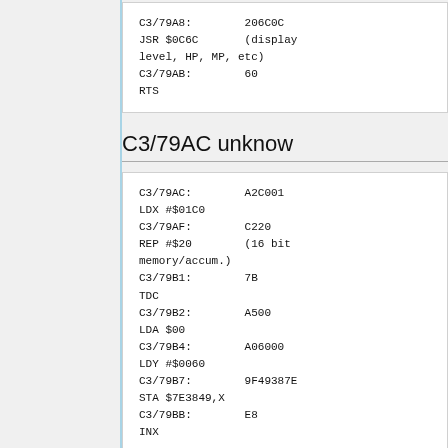C3/79A8:        206C0C
JSR $0C6C       (display
level, HP, MP, etc)
C3/79AB:        60
RTS
C3/79AC unknow
C3/79AC:        A2C001
LDX #$01C0
C3/79AF:        C220
REP #$20        (16 bit
memory/accum.)
C3/79B1:        7B
TDC
C3/79B2:        A500
LDA $00
C3/79B4:        A06000
LDY #$0060
C3/79B7:        9F49387E
STA $7E3849,X
C3/79BB:        E8
INX